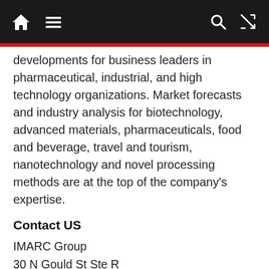Navigation bar with home, menu, search, and shuffle icons
developments for business leaders in pharmaceutical, industrial, and high technology organizations. Market forecasts and industry analysis for biotechnology, advanced materials, pharmaceuticals, food and beverage, travel and tourism, nanotechnology and novel processing methods are at the top of the company's expertise.
Contact US
IMARC Group
30 N Gould St Ste R
Sheridan, WY 82801 USA – Wyoming
Email: Sales@imarcgroup.com
Tel No:(D) +91 120 433 0800
Americas:- +1 631 791 1145 | Africa and Europe :-